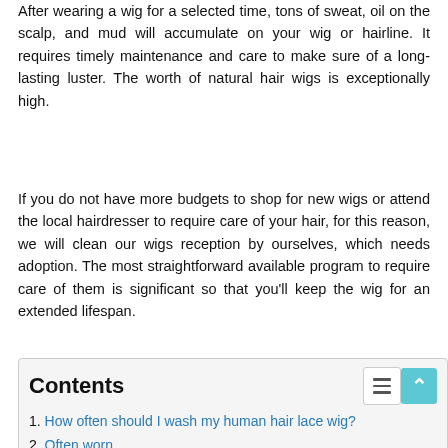After wearing a wig for a selected time, tons of sweat, oil on the scalp, and mud will accumulate on your wig or hairline. It requires timely maintenance and care to make sure of a long-lasting luster. The worth of natural hair wigs is exceptionally high.
If you do not have more budgets to shop for new wigs or attend the local hairdresser to require care of your hair, for this reason, we will clean our wigs reception by ourselves, which needs adoption. The most straightforward available program to require care of them is significant so that you'll keep the wig for an extended lifespan.
Contents
1. How often should I wash my human hair lace wig?
2. Often worn
3. Weather factor